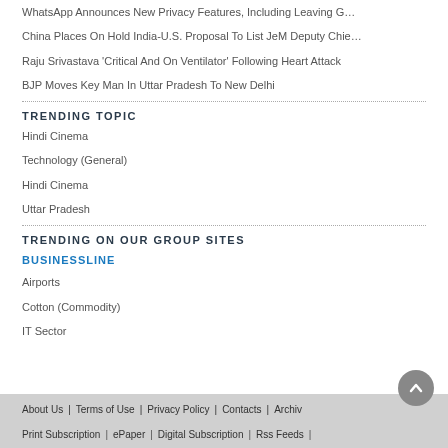WhatsApp Announces New Privacy Features, Including Leaving G…
China Places On Hold India-U.S. Proposal To List JeM Deputy Chie…
Raju Srivastava 'Critical And On Ventilator' Following Heart Attack
BJP Moves Key Man In Uttar Pradesh To New Delhi
TRENDING TOPIC
Hindi Cinema
Technology (General)
Hindi Cinema
Uttar Pradesh
TRENDING ON OUR GROUP SITES
BUSINESSLINE
Airports
Cotton (Commodity)
IT Sector
About Us | Terms of Use | Privacy Policy | Contacts | Archives | Print Subscription | ePaper | Digital Subscription | Rss Feeds |